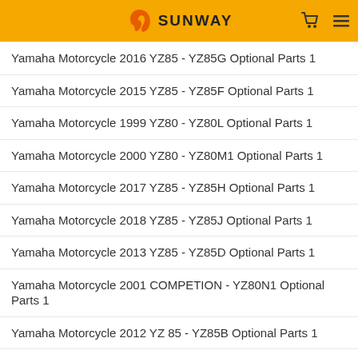SUNWAY
Yamaha Motorcycle 2016 YZ85 - YZ85G Optional Parts 1
Yamaha Motorcycle 2015 YZ85 - YZ85F Optional Parts 1
Yamaha Motorcycle 1999 YZ80 - YZ80L Optional Parts 1
Yamaha Motorcycle 2000 YZ80 - YZ80M1 Optional Parts 1
Yamaha Motorcycle 2017 YZ85 - YZ85H Optional Parts 1
Yamaha Motorcycle 2018 YZ85 - YZ85J Optional Parts 1
Yamaha Motorcycle 2013 YZ85 - YZ85D Optional Parts 1
Yamaha Motorcycle 2001 COMPETION - YZ80N1 Optional Parts 1
Yamaha Motorcycle 2012 YZ 85 - YZ85B Optional Parts 1
Yamaha Race Kart 2002 YZ85PSK OPTIONAL PARTS YZ85
Yamaha Race Kart 2002 YZ125PSK OPTIONAL PARTS YZ85
Yamaha Race Kart 2003 YZ85RSK OPTIONAL PARTS YZ85
Yamaha Race Kart 2003 YZ125RSK OPTIONAL PARTS YZ85